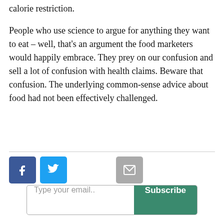calorie restriction.
People who use science to argue for anything they want to eat – well, that's an argument the food marketers would happily embrace. They prey on our confusion and sell a lot of confusion with health claims. Beware that confusion. The underlying common-sense advice about food had not been effectively challenged.
[Figure (infographic): Social sharing buttons: Facebook (blue), Twitter (light blue), and email (gray envelope icon)]
[Figure (infographic): Email subscription bar with placeholder text 'Type your email..' and a green 'Subscribe' button]